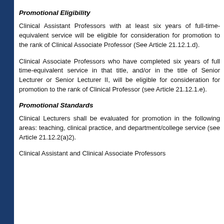Promotional Eligibility
Clinical Assistant Professors with at least six years of full-time-equivalent service will be eligible for consideration for promotion to the rank of Clinical Associate Professor (See Article 21.12.1.d).
Clinical Associate Professors who have completed six years of full time-equivalent service in that title, and/or in the title of Senior Lecturer or Senior Lecturer II, will be eligible for consideration for promotion to the rank of Clinical Professor (see Article 21.12.1.e).
Promotional Standards
Clinical Lecturers shall be evaluated for promotion in the following areas: teaching, clinical practice, and department/college service (see Article 21.12.2(a)2).
Clinical Assistant and Clinical Associate Professors